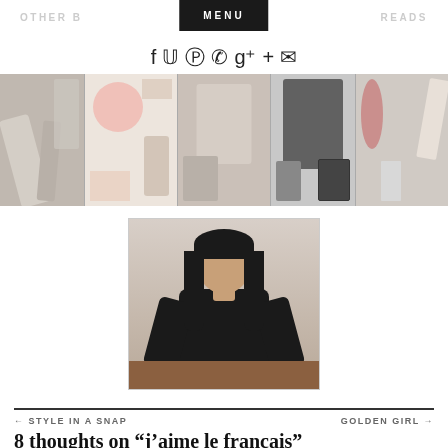OTHER B   MENU   READS
f ♥ ® ☎ g+ + ✉
[Figure (photo): Horizontal banner strip of beauty and fashion product flat-lay images]
[Figure (photo): Portrait photo of a woman with long dark hair wearing black, seated at a table]
← STYLE IN A SNAP    GOLDEN GIRL →
8 thoughts on “j’aime le francais”